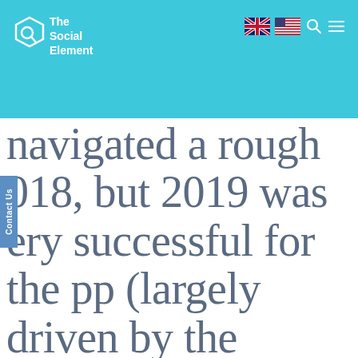[Figure (logo): The Social Element logo — hexagon icon with magnifying glass and white text on cyan/teal background header]
[Figure (other): UK and US flag icons with search and menu icons in top right of header]
navigated a rough 018, but 2019 was ery successful for the pp (largely driven by the launch of a long-overdue revamp of its Android app).